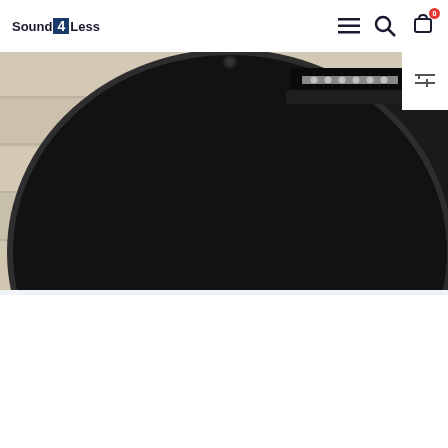Sound4Less
[Figure (photo): Photo of PRS Paul Reed Smith SE Parlor P20 acoustic guitar body in charcoal black finish, viewed from the back, resting on a light wood surface. The guitar bridge and tuning pegs are visible at the top.]
PRS Paul Reed Smith SE Parlor P20 Charcoal Mahogany Top Back and Sides w/ Deluxe Bag NEW! #4572